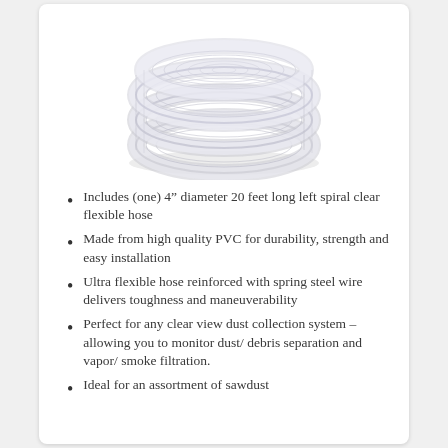[Figure (photo): Coiled clear flexible PVC hose with spring steel wire reinforcement, shown from above as multiple loops stacked together.]
Includes (one) 4″ diameter 20 feet long left spiral clear flexible hose
Made from high quality PVC for durability, strength and easy installation
Ultra flexible hose reinforced with spring steel wire delivers toughness and maneuverability
Perfect for any clear view dust collection system – allowing you to monitor dust/ debris separation and vapor/ smoke filtration.
Ideal for an assortment of sawdust